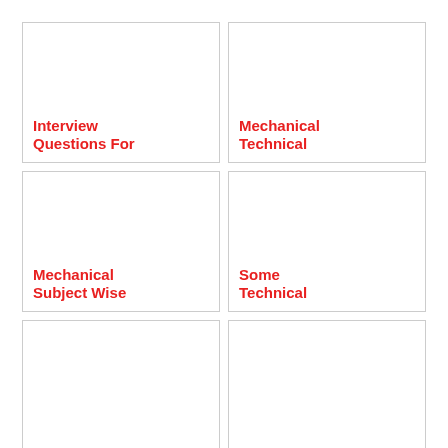[Figure (illustration): Card thumbnail image area (blank/white) for Interview Questions For]
Interview Questions For
[Figure (illustration): Card thumbnail image area (blank/white) for Mechanical Technical]
Mechanical Technical
[Figure (illustration): Card thumbnail image area (blank/white) for Mechanical Subject Wise]
Mechanical Subject Wise
[Figure (illustration): Card thumbnail image area (blank/white) for Some Technical]
Some Technical
[Figure (illustration): Card thumbnail image area (blank/white), bottom left, no title visible]
[Figure (illustration): Card thumbnail image area (blank/white), bottom right, no title visible]